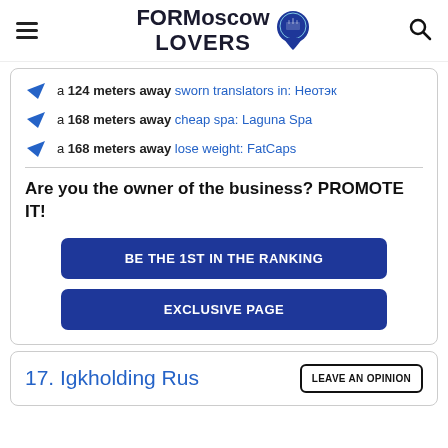FORMoscow LOVERS
a 124 meters away sworn translators in: Неотэк
a 168 meters away cheap spa: Laguna Spa
a 168 meters away lose weight: FatCaps
Are you the owner of the business? PROMOTE IT!
BE THE 1ST IN THE RANKING
EXCLUSIVE PAGE
17. Igkholding Rus
LEAVE AN OPINION